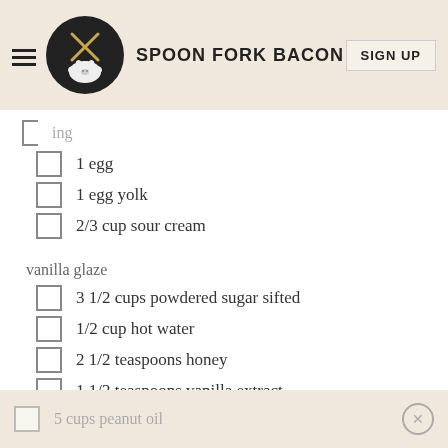SPOON FORK BACON | SIGN UP
1 egg
1 egg yolk
2/3 cup sour cream
vanilla glaze
3 1/2 cups powdered sugar sifted
1/2 cup hot water
2 1/2 teaspoons honey
1 1/2 teaspoons vanilla extract
1/4 teaspoon salt
frying
5 cups peanut oil